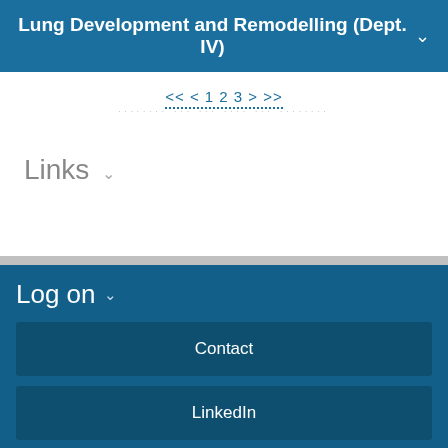Lung Development and Remodelling (Dept. IV)
<< < 1 2 3 > >>
Links
Log on
Contact
LinkedIn
Instagram
Twitter